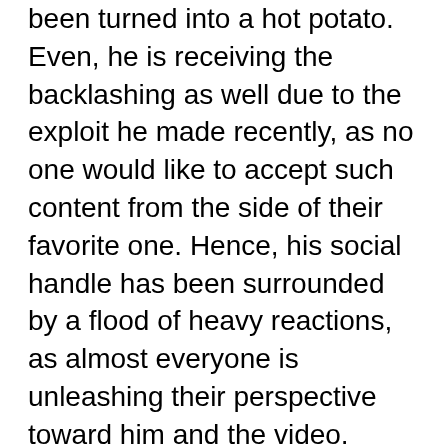been turned into a hot potato. Even, he is receiving the backlashing as well due to the exploit he made recently, as no one would like to accept such content from the side of their favorite one. Hence, his social handle has been surrounded by a flood of heavy reactions, as almost everyone is unleashing their perspective toward him and the video.
If the further reports are to be considered, so he is associated with some quite significant video streaming sites as well, where he usually posts his content-rich clips to gain popularity. At just a very young age he has gained such a vast fan following no matter if it goes to negative way or positive. So here we have conferred everything which has been derived from the other significant